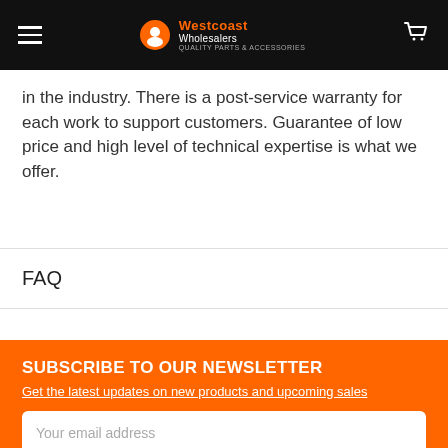Westcoast Wholesalers — Quality Parts & Accessories
in the industry. There is a post-service warranty for each work to support customers. Guarantee of low price and high level of technical expertise is what we offer.
FAQ
SUBSCRIBE TO OUR NEWSLETTER
Get the latest updates on new products and upcoming sales
Your email address
SUBSCRIBE